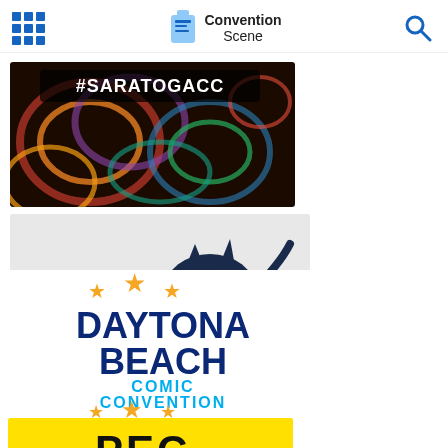Convention Scene
[Figure (illustration): Saratoga CC convention banner with #SARATOGACC text over colorful psychedelic art]
[Figure (illustration): Mid-Hudson Comic Con logo with howling wolf silhouette on gold sun, August 28-29]
[Figure (logo): Daytona Beach Comic Convention logo with gold stars, navy and cyan text]
[Figure (logo): PEC logo on yellow background]